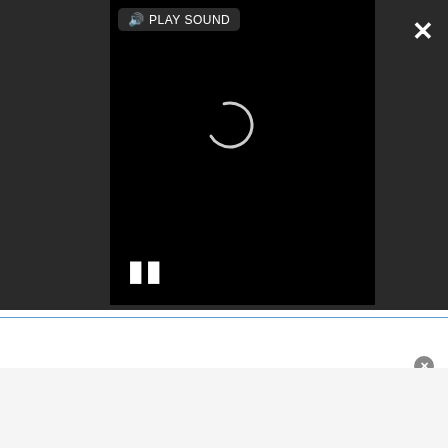[Figure (screenshot): Video player embedded in dark background. Shows a black video screen with a loading spinner, pause button (two vertical bars) at bottom-left, a 'PLAY SOUND' button with speaker icon at top-left of video, an X close button at top-right of the dark area, and an expand/fullscreen arrow button at bottom-right of the dark area.]
elliptical trainer.
The NordicTrack FreeStride FS10i also packs a full suite of interactive iFit features, including the ability for trainers to adjust their resistance level remotely. You do have to pay a subscription fee for the iFit service, but the first year is free.
[Figure (other): Advertisement area at the bottom of the page with a light blue top border, white background on top half and light gray background on bottom half, with a small circular close button (X) in the upper-right corner.]